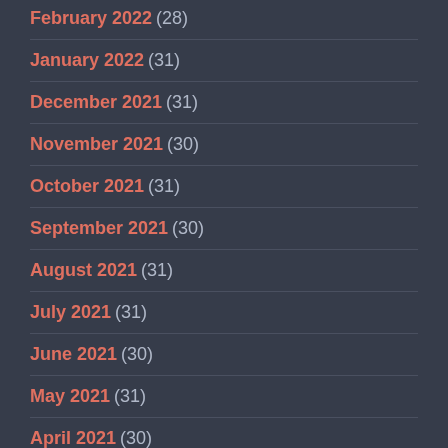February 2022 (28)
January 2022 (31)
December 2021 (31)
November 2021 (30)
October 2021 (31)
September 2021 (30)
August 2021 (31)
July 2021 (31)
June 2021 (30)
May 2021 (31)
April 2021 (30)